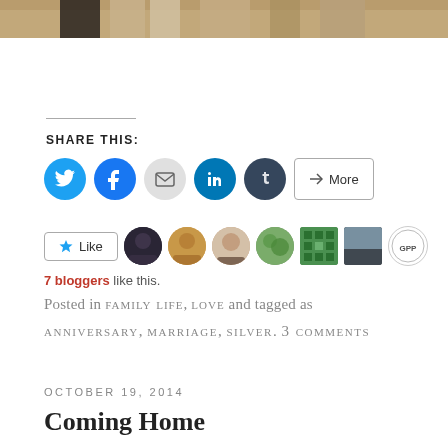[Figure (photo): Partial photograph of people at the top of the page, cropped showing waists/lower bodies]
SHARE THIS:
[Figure (infographic): Social sharing buttons: Twitter (blue circle), Facebook (blue circle), Email (gray circle), LinkedIn (dark teal circle), Tumblr (dark navy circle), More button]
[Figure (infographic): Like button with star icon followed by 7 blogger avatar thumbnails]
7 bloggers like this.
Posted in FAMILY LIFE, LOVE and tagged as
ANNIVERSARY, MARRIAGE, SILVER. 3 COMMENTS
OCTOBER 19, 2014
Coming Home